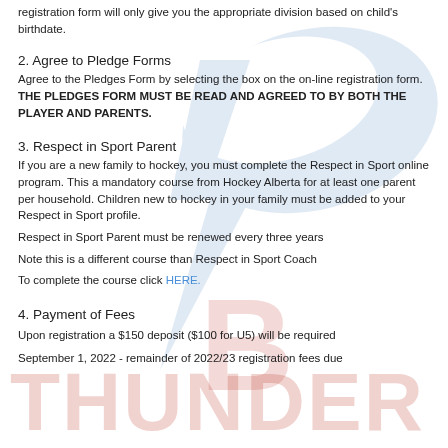registration form will only give you the appropriate division based on child's birthdate.
2. Agree to Pledge Forms
Agree to the Pledges Form by selecting the box on the on-line registration form.  THE PLEDGES FORM MUST BE READ AND AGREED TO BY BOTH THE PLAYER AND PARENTS.
3. Respect in Sport Parent
If you are a new family to hockey, you must complete the Respect in Sport online program. This a mandatory course from Hockey Alberta for at least one parent per household. Children new to hockey in your family must be added to your Respect in Sport profile.
Respect in Sport Parent must be renewed every three years
Note this is a different course than Respect in Sport Coach
To complete the course click HERE.
4. Payment of Fees
Upon registration a $150 deposit ($100 for U5) will be required
September 1, 2022 - remainder of 2022/23 registration fees due